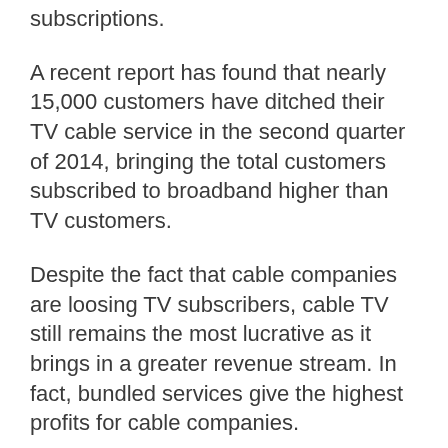subscriptions.
A recent report has found that nearly 15,000 customers have ditched their TV cable service in the second quarter of 2014, bringing the total customers subscribed to broadband higher than TV customers.
Despite the fact that cable companies are loosing TV subscribers, cable TV still remains the most lucrative as it brings in a greater revenue stream. In fact, bundled services give the highest profits for cable companies.
While the disparity between broadband and TV customers remains on the low side, it seems that this is definitely the way of the future as more and more content is offered